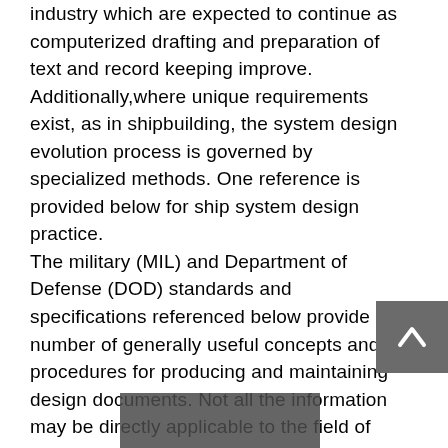industry which are expected to continue as computerized drafting and preparation of text and record keeping improve. Additionally,where unique requirements exist, as in shipbuilding, the system design evolution process is governed by specialized methods. One reference is provided below for ship system design practice. The military (MIL) and Department of Defense (DOD) standards and specifications referenced below provide a number of generally useful concepts and procedures for producing and maintaining design documents. Not all the information may be directly applicable to the field of interest of this handbook; however, the referenced do[...]ould not be